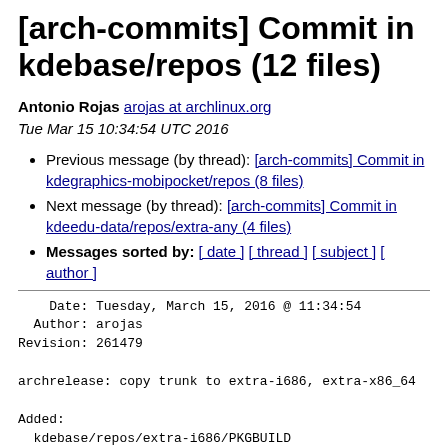[arch-commits] Commit in kdebase/repos (12 files)
Antonio Rojas arojas at archlinux.org
Tue Mar 15 10:34:54 UTC 2016
Previous message (by thread): [arch-commits] Commit in kdegraphics-mobipocket/repos (8 files)
Next message (by thread): [arch-commits] Commit in kdeedu-data/repos/extra-any (4 files)
Messages sorted by: [ date ] [ thread ] [ subject ] [ author ]
Date: Tuesday, March 15, 2016 @ 11:34:54
  Author: arojas
Revision: 261479

archrelease: copy trunk to extra-i686, extra-x86_64

Added:
  kdebase/repos/extra-i686/PKGBUILD
    (from rev 261478, kdebase/trunk/PKGBUILD)
  kdebase/repos/extra-i686/kdebase-konqueror.install
    (from rev 261478, kdebase/trunk/kdebase-
konqueror.install)